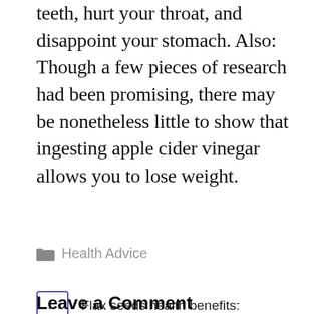teeth, hurt your throat, and disappoint your stomach. Also: Though a few pieces of research had been promising, there may be nonetheless little to show that ingesting apple cider vinegar allows you to lose weight.
Health Advice
← Flax seeds health benefits:
→ Apple cider vinegar weight loss:{Best tips of 2021}
Leave a Comment